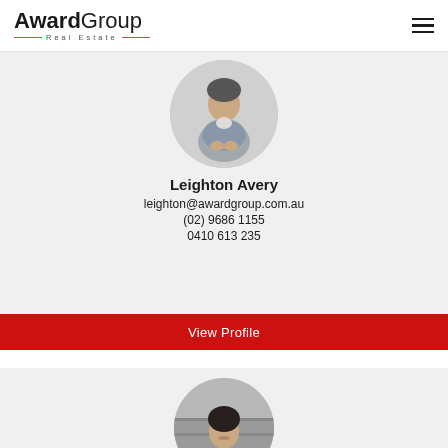Award Group Real Estate
[Figure (photo): Circular portrait photo of Leighton Avery, a man in a grey suit, hands clasped, seated]
Leighton Avery
leighton@awardgroup.com.au
(02) 9686 1155
0410 613 235
View Profile
[Figure (photo): Circular portrait photo of a smiling woman with dark hair, standing in front of a brick wall background]